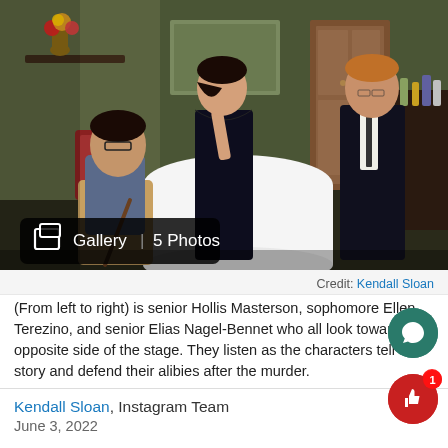[Figure (photo): Theater stage scene with three actors: a seated person on the left (senior Hollis Masterson), a woman in a black dress standing center (sophomore Ellen Terezino), and a man in a dark suit on the right (senior Elias Nagel-Bennet). A white-clothed table is center stage, with a door and set decoration in the background. A gallery overlay shows 'Gallery | 5 Photos'.]
Credit: Kendall Sloan
(From left to right) is senior Hollis Masterson, sophomore Ellen Terezino, and senior Elias Nagel-Bennet who all look towards the opposite side of the stage. They listen as the characters tell their story and defend their alibies after the murder.
Kendall Sloan, Instagram Team
June 3, 2022